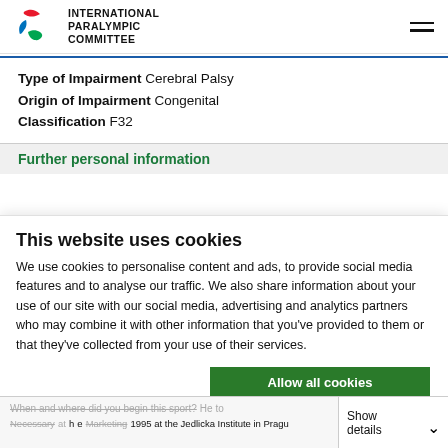INTERNATIONAL PARALYMPIC COMMITTEE
Type of Impairment Cerebral Palsy
Origin of Impairment Congenital
Classification F32
Further personal information
This website uses cookies
We use cookies to personalise content and ads, to provide social media features and to analyse our traffic. We also share information about your use of our site with our social media, advertising and analytics partners who may combine it with other information that you've provided to them or that they've collected from your use of their services.
Allow all cookies
Allow selection
Use necessary cookies only
When and where did you begin this sport? He took up athletics in 1995 at the Jedlicka Institute in Pragu
Necessary
Preferences
Statistics
Marketing
Show details